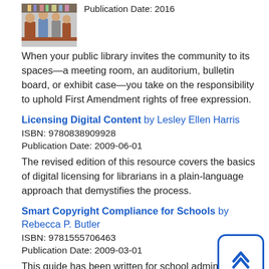[Figure (photo): Photo of people in a library setting]
Publication Date: 2016
When your public library invites the community to its spaces—a meeting room, an auditorium, bulletin board, or exhibit case—you take on the responsibility to uphold First Amendment rights of free expression.
Licensing Digital Content by Lesley Ellen Harris
ISBN: 9780838909928
Publication Date: 2009-06-01
The revised edition of this resource covers the basics of digital licensing for librarians in a plain-language approach that demystifies the process.
Smart Copyright Compliance for Schools by Rebecca P. Butler
ISBN: 9781555706463
Publication Date: 2009-03-01
This guide has been written for school administrators,